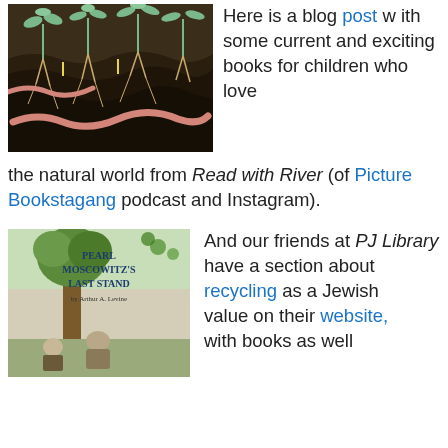[Figure (illustration): Cross-section illustration of soil with plants growing above and earthworms/roots visible below, dark background with pink worms]
Here is a blog post with some current and exciting books for children who love the natural world from Read with River (of Picture Bookstagang podcast and Instagram).
[Figure (illustration): Book cover of 'Pearl Moscowitz's Last Stand' by Arthur A. Levine, showing illustrated characters near a tree]
And our friends at PJ Library have a section about recycling as a Jewish value on their website, with books as well